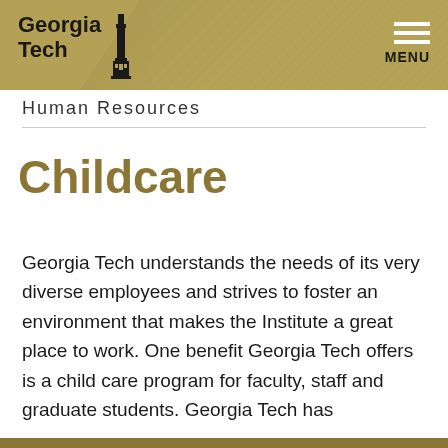Georgia Tech — Human Resources — Childcare
Human Resources
Childcare
Georgia Tech understands the needs of its very diverse employees and strives to foster an environment that makes the Institute a great place to work. One benefit Georgia Tech offers is a child care program for faculty, staff and graduate students. Georgia Tech has